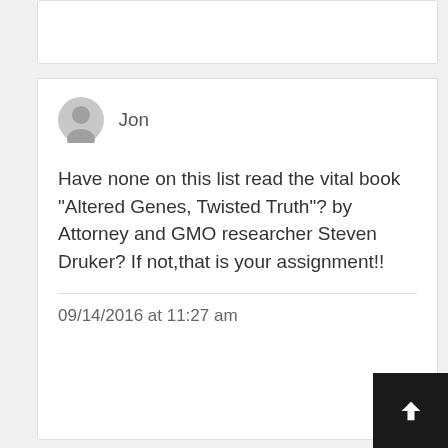Jon
Have none on this list read the vital book “Altered Genes, Twisted Truth”? by Attorney and GMO researcher Steven Druker? If not,that is your assignment!!
09/14/2016 at 11:27 am